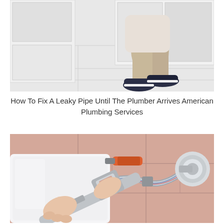[Figure (photo): Person crouching on a white tiled floor near white kitchen or bathroom cabinets, wearing beige pants and dark navy sneakers]
How To Fix A Leaky Pipe Until The Plumber Arrives American Plumbing Services
[Figure (photo): Close-up of hands using a large adjustable wrench on a flexible braided metal hose connected to the back of a white toilet tank, with pink tiles in the background and a chrome shutoff valve on the wall]